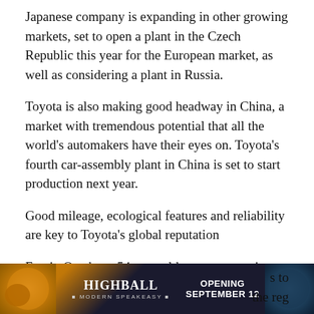Japanese company is expanding in other growing markets, set to open a plant in the Czech Republic this year for the European market, as well as considering a plant in Russia.
Toyota is also making good headway in China, a market with tremendous potential that all the world's automakers have their eyes on. Toyota's fourth car-assembly plant in China is set to start production next year.
Good mileage, ecological features and reliability are key to Toyota's global reputation
Fumio Otsuka, a 54-year-old computer engineer in Japan, has always had Toyotas.
“It’s no… s to the reg…
[Figure (other): Advertisement banner for Highball Modern Speakeasy, opening September 12. Dark background with orange decorative elements on the left and blue/dark decorative elements on the right.]